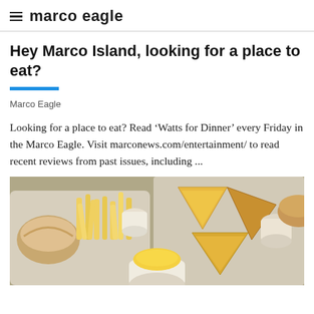marco eagle
Hey Marco Island, looking for a place to eat?
Marco Eagle
Looking for a place to eat? Read ‘Watts for Dinner’ every Friday in the Marco Eagle. Visit marconews.com/entertainment/ to read recent reviews from past issues, including ...
[Figure (photo): Photo of food trays containing french fries, quesadillas, dipping sauces, and other dishes on a table]